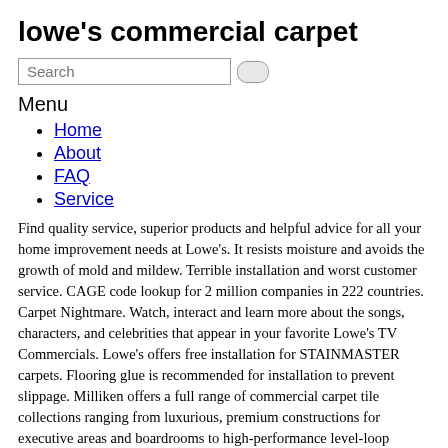lowe's commercial carpet
Search
Menu
Home
About
FAQ
Service
Find quality service, superior products and helpful advice for all your home improvement needs at Lowe's. It resists moisture and avoids the growth of mold and mildew. Terrible installation and worst customer service. CAGE code lookup for 2 million companies in 222 countries. Carpet Nightmare. Watch, interact and learn more about the songs, characters, and celebrities that appear in your favorite Lowe's TV Commercials. Lowe's offers free installation for STAINMASTER carpets. Flooring glue is recommended for installation to prevent slippage. Milliken offers a full range of commercial carpet tile collections ranging from luxurious, premium constructions for executive areas and boardrooms to high-performance level-loop constructions designed to meet a budget. Due to the high amount of foot traffic, it needs to